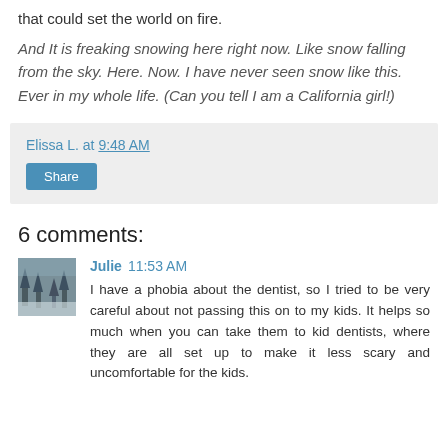that could set the world on fire.
And It is freaking snowing here right now. Like snow falling from the sky. Here. Now. I have never seen snow like this. Ever in my whole life. (Can you tell I am a California girl!)
Elissa L. at 9:48 AM
Share
6 comments:
[Figure (photo): Avatar photo of commenter Julie, showing a winter outdoor scene with trees and snow.]
Julie 11:53 AM
I have a phobia about the dentist, so I tried to be very careful about not passing this on to my kids. It helps so much when you can take them to kid dentists, where they are all set up to make it less scary and uncomfortable for the kids.